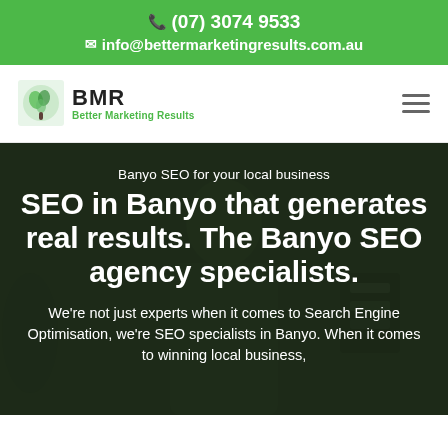(07) 3074 9533 | info@bettermarketingresults.com.au
[Figure (logo): BMR Better Marketing Results logo with green leaf/tree icon]
Banyo SEO for your local business
SEO in Banyo that generates real results. The Banyo SEO agency specialists.
We're not just experts when it comes to Search Engine Optimisation, we're SEO specialists in Banyo. When it comes to winning local business,